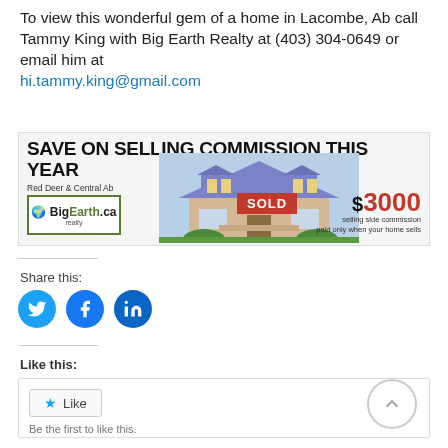To view this wonderful gem of a home in Lacombe, Ab call Tammy King with Big Earth Realty at (403) 304-0649 or email him at hi.tammy.king@gmail.com
[Figure (infographic): Big Earth Realty advertisement banner: 'SAVE ON SELLING COMMISSION THIS YEAR', Red Deer & Central Ab, BigEarth.ca realty logo, photo of a house with SOLD sign, $3000 selling side commission paid only when your home sells]
Share this:
[Figure (infographic): Social share icons: Twitter (blue circle), Facebook (blue circle), LinkedIn (blue circle)]
Like this:
Like
Be the first to like this.